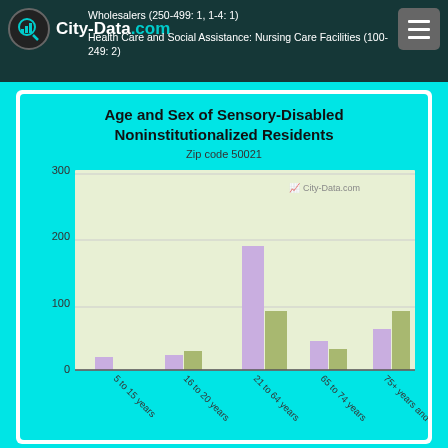City-Data.com
Wholesalers (250-499: 1, 1-4: 1)
Health Care and Social Assistance: Nursing Care Facilities (100-249: 2)
[Figure (grouped-bar-chart): Age and Sex of Sensory-Disabled Noninstitutionalized Residents]